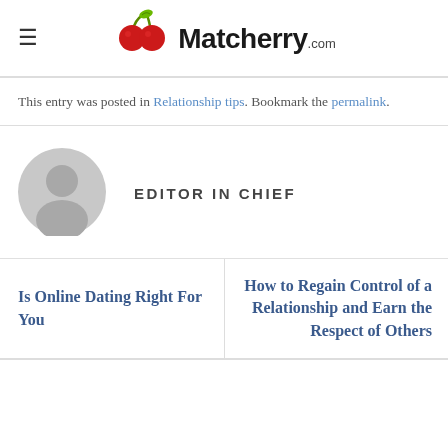Matcherry.com
This entry was posted in Relationship tips. Bookmark the permalink.
[Figure (illustration): Gray placeholder avatar icon showing a silhouette of a person, circular shape]
EDITOR IN CHIEF
Is Online Dating Right For You
How to Regain Control of a Relationship and Earn the Respect of Others